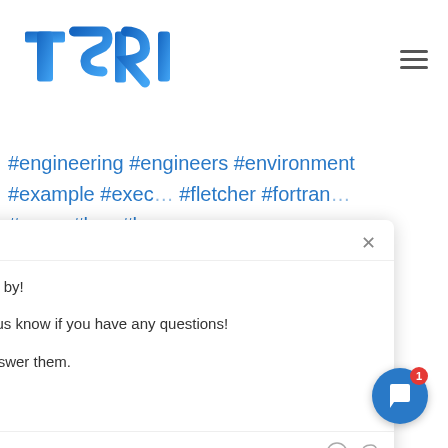[Figure (logo): TSRI logo in blue gradient letters]
#engineering #engineers #environment #example #exec... #fletcher #fortran... #gwen #has #ho... #integrating #int... #japanese #july #... #legacy #longer... #manager #mar... #missile #m...or #modernize #mo... #necessary #nee... #patriot #platforms #please #pre... #preprocessor #presentation #president #program #programs #project #project... #proud #provided #raytheon #raytheo... #rehosting #renaming #restructured
[Figure (screenshot): Chat popup overlay: Team header with close X button. Message: Hi there, thanks for stopping by! Have a look around and let us know if you have any questions! We are real and ready to answer them. Reply to Team input box with emoji and paperclip icons. Two user avatars displayed.]